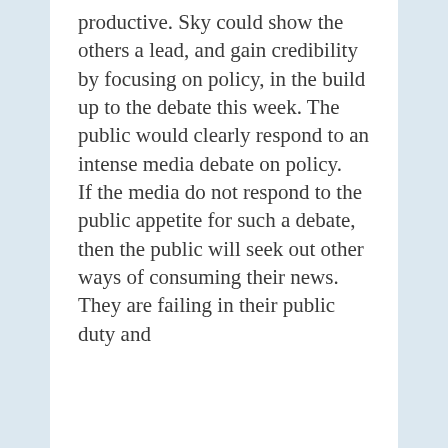productive. Sky could show the others a lead, and gain credibility by focusing on policy, in the build up to the debate this week. The public would clearly respond to an intense media debate on policy. If the media do not respond to the public appetite for such a debate, then the public will seek out other ways of consuming their news. They are failing in their public duty and